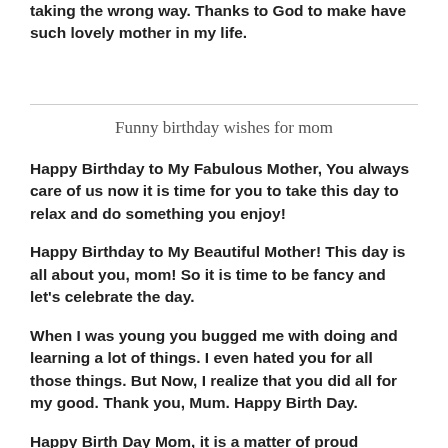taking the wrong way. Thanks to God to make have such lovely mother in my life.
Funny birthday wishes for mom
Happy Birthday to My Fabulous Mother, You always care of us now it is time for you to take this day to relax and do something you enjoy!
Happy Birthday to My Beautiful Mother! This day is all about you, mom! So it is time to be fancy and let's celebrate the day.
When I was young you bugged me with doing and learning a lot of things. I even hated you for all those things. But Now, I realize that you did all for my good. Thank you, Mum. Happy Birth Day.
Happy Birth Day Mom, it is a matter of proud...